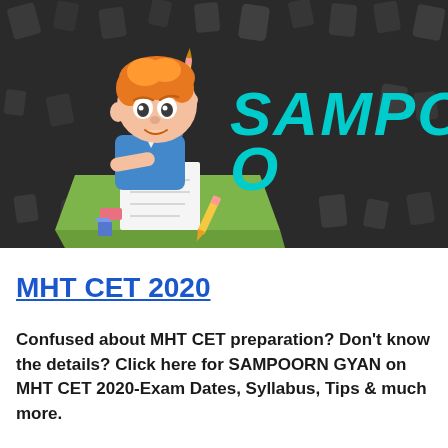[Figure (illustration): Banner image with dark background featuring scattered 3D letter shapes, a cartoon boy sitting at a desk with a pencil and paper, and the text 'SAMPOO' in large cyan/teal bold italic font on the right side.]
MHT CET 2020
Confused about MHT CET preparation? Don't know the details? Click here for SAMPOORN GYAN on MHT CET 2020-Exam Dates, Syllabus, Tips & much more.